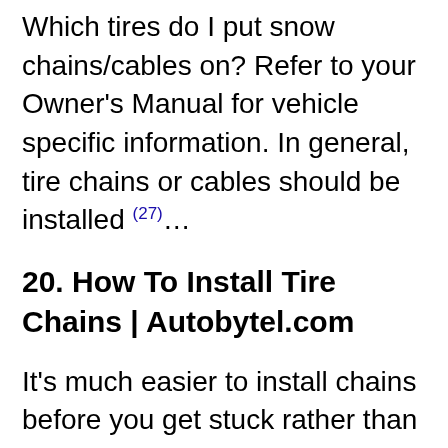Which tires do I put snow chains/cables on? Refer to your Owner's Manual for vehicle specific information. In general, tire chains or cables should be installed (27)...
20. How To Install Tire Chains | Autobytel.com
It's much easier to install chains before you get stuck rather than after. Tire chains should be installed on the drive axle. Front wheel drive vehicles should (28)